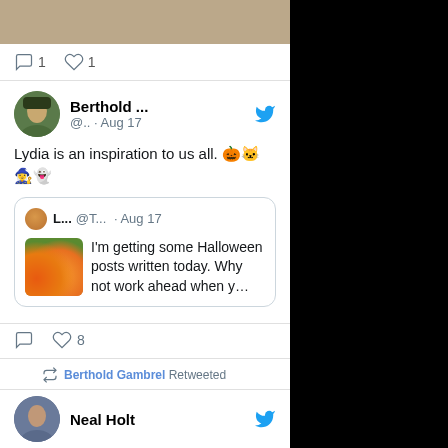[Figure (screenshot): Twitter/social media feed screenshot showing tweets from Berthold Gambrel and others]
1  1
Berthold ... @.. · Aug 17
Lydia is an inspiration to us all. 🎃🐱🧙‍♀️👻
L... @T... · Aug 17
I'm getting some Halloween posts written today. Why not work ahead when y...
8
Berthold Gambrel Retweeted
Neal Holt